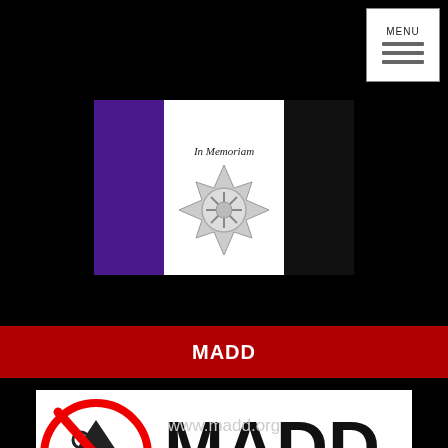[Figure (other): MENU button with three horizontal lines in top right corner]
[Figure (illustration): In Memoriam flag with purple, white, and black vertical stripes and a firefighter maltese cross emblem in the center]
MADD
[Figure (logo): MADD logo with red circle-slash over a martini glass and car keys, large MADD text, and tagline 'Activism | Victim Services | Education']
www.madd.org